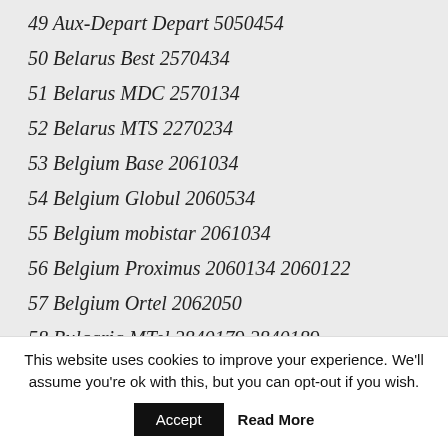49 Aux-Depart Depart 5050454
50 Belarus Best 2570434
51 Belarus MDC 2570134
52 Belarus MTS 2270234
53 Belgium Base 2061034
54 Belgium Globul 2060534
55 Belgium mobistar 2061034
56 Belgium Proximus 2060134 2060122
57 Belgium Ortel 2062050
58 Bulgaria MTel 2840179 2840189
59 Bulgaria Vivacom 2840310
60 Bulgaria Globul 2840510 2840500
This website uses cookies to improve your experience. We'll assume you're ok with this, but you can opt-out if you wish.